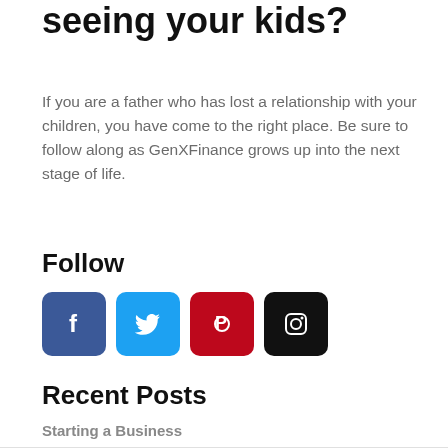seeing your kids?
If you are a father who has lost a relationship with your children, you have come to the right place. Be sure to follow along as GenXFinance grows up into the next stage of life.
Follow
[Figure (infographic): Four social media icon buttons: Facebook (dark blue), Twitter (light blue), Pinterest (dark red), Instagram (black)]
Recent Posts
Starting a Business
Read More »